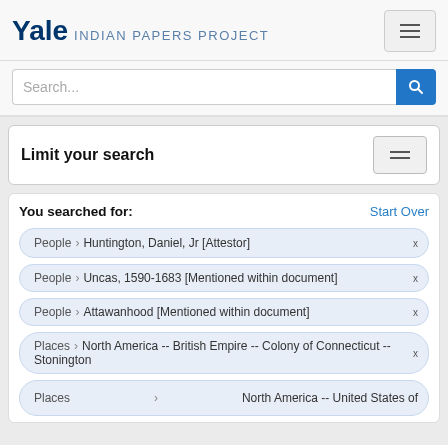Yale INDIAN PAPERS PROJECT
Search...
Limit your search
You searched for:
Start Over
People › Huntington, Daniel, Jr [Attestor]
People › Uncas, 1590-1683 [Mentioned within document]
People › Attawanhood [Mentioned within document]
Places › North America -- British Empire -- Colony of Connecticut -- Stonington
Places › North America -- United States of